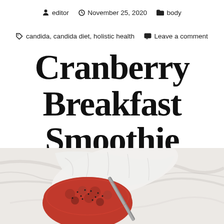editor  November 25, 2020  body  candida, candida diet, holistic health  Leave a comment
Cranberry Breakfast Smoothie
[Figure (photo): Photo of a cranberry breakfast smoothie in a bowl on a marble surface with a metal straw, topped with chia seeds and fresh cranberries, with a white linen cloth nearby.]